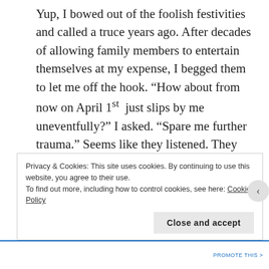Yup, I bowed out of the foolish festivities and called a truce years ago. After decades of allowing family members to entertain themselves at my expense, I begged them to let me off the hook. “How about from now on April 1st just slips by me uneventfully?” I asked. “Spare me further trauma.” Seems like they listened. They decided my longevity and sanity were worth a bit more than their glee at scaring me silly or watching me make an ass out of myself “all in good fun.” Besides, those who love me enough to play pranks on me have realized I don’t need any help from them to feel foolish. I manage to
Privacy & Cookies: This site uses cookies. By continuing to use this website, you agree to their use.
To find out more, including how to control cookies, see here: Cookie Policy
Close and accept